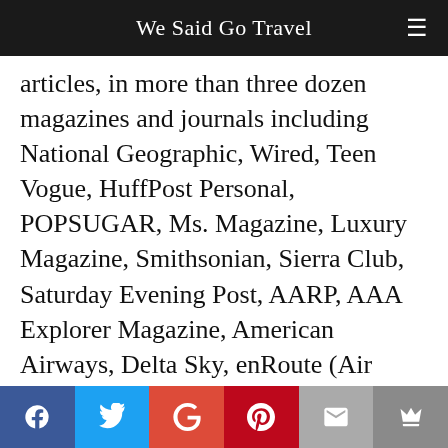We Said Go Travel
articles, in more than three dozen magazines and journals including National Geographic, Wired, Teen Vogue, HuffPost Personal, POPSUGAR, Ms. Magazine, Luxury Magazine, Smithsonian, Sierra Club, Saturday Evening Post, AARP, AAA Explorer Magazine, American Airways, Delta Sky, enRoute (Air Canada), Hemispheres, Jewish Journal, Myanmar Times, BuzzFeed, Robb Report, Scuba Diver Life, Ski Utah, Trivago,
Social share bar: Facebook, Twitter, Google+, Pinterest, Email, Crown